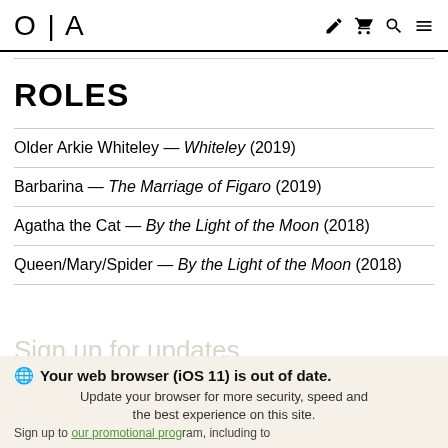O|A
ROLES
Older Arkie Whiteley — Whiteley (2019)
Barbarina — The Marriage of Figaro (2019)
Agatha the Cat — By the Light of the Moon (2018)
Queen/Mary/Spider — By the Light of the Moon (2018)
Your web browser (iOS 11) is out of date. Update your browser for more security, speed and the best experience on this site.
Sign up to our promotional program, including to